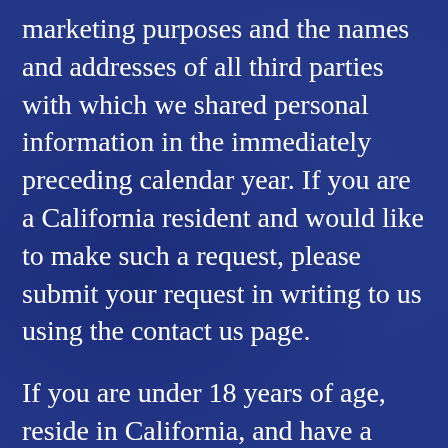marketing purposes and the names and addresses of all third parties with which we shared personal information in the immediately preceding calendar year. If you are a California resident and would like to make such a request, please submit your request in writing to us using the contact us page.
If you are under 18 years of age, reside in California, and have a registered account with the website, you have the right to request removal of unwanted data that you publicly post on the website. To request removal of such data, please contact us using the contact information provided below